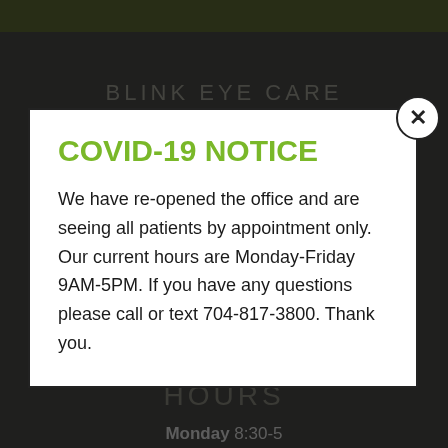BLINK EYE CARE
COVID-19 NOTICE
We have re-opened the office and are seeing all patients by appointment only. Our current hours are Monday-Friday 9AM-5PM. If you have any questions please call or text 704-817-3800. Thank you.
→ Notice of Privacy Practices
→ Good Faith Estimate Disclaimer
HOURS
Monday 8:30-5